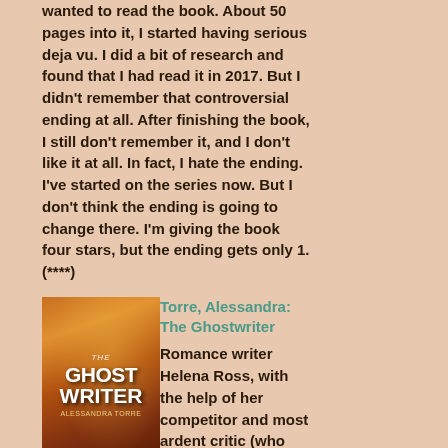wanted to read the book. About 50 pages into it, I started having serious deja vu. I did a bit of research and found that I had read it in 2017. But I didn't remember that controversial ending at all. After finishing the book, I still don't remember it, and I don't like it at all. In fact, I hate the ending. I've started on the series now. But I don't think the ending is going to change there. I'm giving the book four stars, but the ending gets only 1. (****)
[Figure (photo): Book cover of 'The Ghost Writer' by Alessandra Torre showing a woman's profile against orange/fire background]
Torre, Alessandra: The Ghostwriter
Romance writer Helena Ross, with the help of her competitor and most ardent critic (who turns out to be not quite what she seems) is about to begin the last story she'll ever write. As far as I'm concerned, this is a must-read. It's not a ghost story, and it's not a